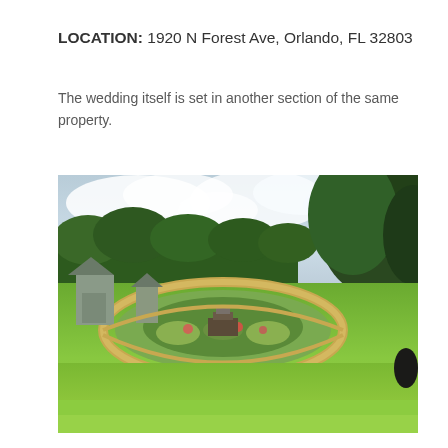LOCATION: 1920 N Forest Ave, Orlando, FL 32803
The wedding itself is set in another section of the same property.
[Figure (photo): Outdoor garden venue with circular path, central flower garden bed with monument, gazebo structures on the left, large trees on the right, green lawn in foreground, cloudy sky in background. Location: 1920 N Forest Ave, Orlando, FL 32803.]